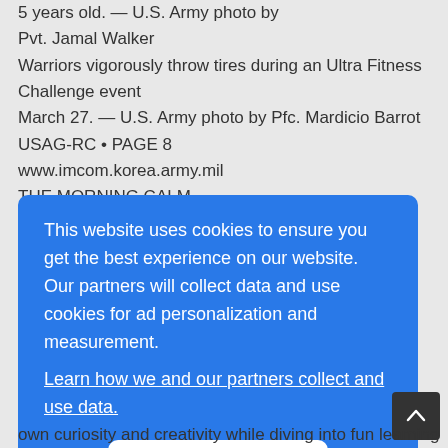5 years old. — U.S. Army photo by Pvt. Jamal Walker
Warriors vigorously throw tires during an Ultra Fitness Challenge event March 27. — U.S. Army photo by Pfc. Mardicio Barrot
USAG-RC • PAGE 8
www.imcom.korea.army.mil
THE MORNING CALM
APRIL 2, 2010
USAG-Y • PAGE 9
http://yongsan.korea.army.mil USAG-YONGSAN
[Figure (screenshot): Cookie consent overlay dialog on a blue background with text: 'This website uses cookies to ensure you get the best experience on our website. Our partners will collect data and use cookies for ad personalization and measurement.' with a link 'Learn how we and our partners collect and use data.' and an OK button.]
own curiosity and creativity while diving into fun learning